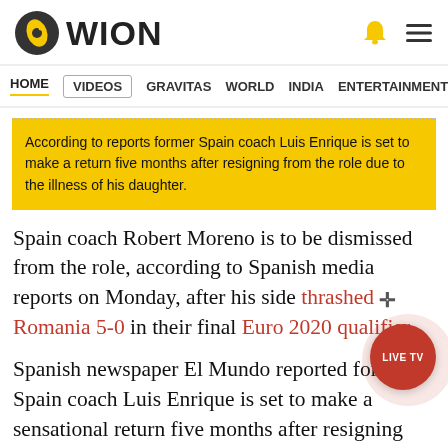WION
HOME | VIDEOS | GRAVITAS | WORLD | INDIA | ENTERTAINMENT | SPORTS
According to reports former Spain coach Luis Enrique is set to make a return five months after resigning from the role due to the illness of his daughter.
Spain coach Robert Moreno is to be dismissed from the role, according to Spanish media reports on Monday, after his side thrashed Romania 5-0 in their final Euro 2020 qualifier.
Spanish newspaper El Mundo reported former Spain coach Luis Enrique is set to make a sensational return five months after resigning